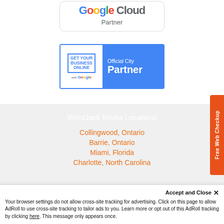[Figure (logo): Google Cloud Partner badge — white card with Google Cloud logo and 'Partner' text below]
[Figure (logo): Get Your Business Online Official City Partner badge with Google branding — white and blue banner]
WordJack Media Locations
Collingwood, Ontario
Barrie, Ontario
Miami, Florida
Charlotte, North Carolina
[Figure (other): Orange vertical side tab reading 'Free Web Checkup']
Accept and Close ×
Your browser settings do not allow cross-site tracking for advertising. Click on this page to allow AdRoll to use cross-site tracking to tailor ads to you. Learn more or opt out of this AdRoll tracking by clicking here. This message only appears once.